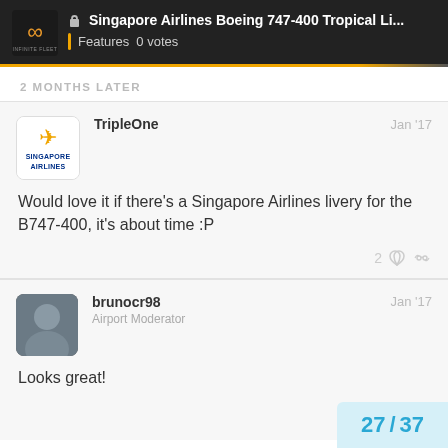Singapore Airlines Boeing 747-400 Tropical Li... | Features  0 votes
2 MONTHS LATER
TripleOne  Jan '17
Would love it if there's a Singapore Airlines livery for the B747-400, it's about time :P
2 likes
brunocr98  Jan '17
Airport Moderator
Looks great!
27 / 37